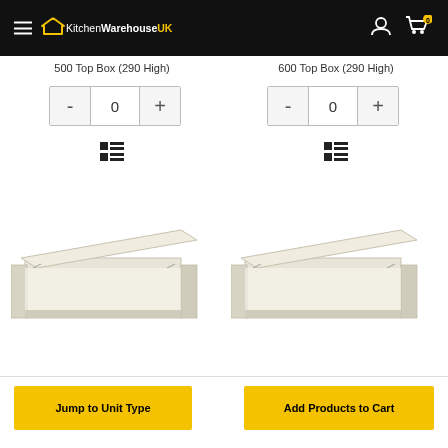KitchenWarehouseUK
500 Top Box (290 High)
600 Top Box (290 High)
[Figure (screenshot): Quantity selector with minus button, 0 value, and plus button for 500 Top Box]
[Figure (screenshot): Quantity selector with minus button, 0 value, and plus button for 600 Top Box]
[Figure (illustration): List/detail view icon for 500 Top Box]
[Figure (illustration): List/detail view icon for 600 Top Box]
[Figure (photo): White/cream kitchen cabinet top box unit, 500 wide, 290 high, with lift-up door open]
[Figure (photo): White/cream kitchen cabinet top box unit, 600 wide, 290 high, with lift-up door open]
Jump to Unit Type
Add Products to Cart